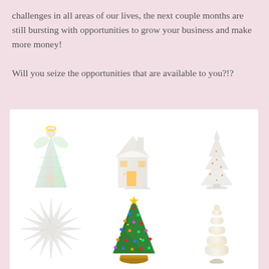challenges in all areas of our lives, the next couple months are still bursting with opportunities to grow your business and make more money!

Will you seize the opportunities that are available to you?!?
[Figure (photo): Six Christmas/holiday decorative items arranged in two rows: top row has a glass angel figurine, a white ceramic house with glowing windows, and a white ceramic Christmas tree; bottom row has a white star decoration, a colorful jeweled Christmas tree on a gold base, and a cream/ivory tiered Christmas tree.]